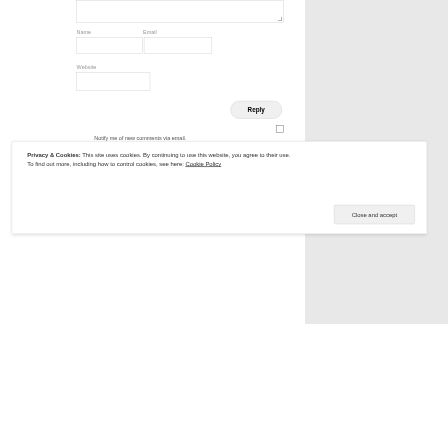[Figure (screenshot): Web form fields for Name, Email, Website with a Reply button and notification checkboxes, plus a cookie consent banner overlay.]
Name
Email
Website
Reply
Notify me of new comments via email.
Notify me of new posts via email.
Privacy & Cookies: This site uses cookies. By continuing to use this website, you agree to their use.
To find out more, including how to control cookies, see here: Cookie Policy
Close and accept